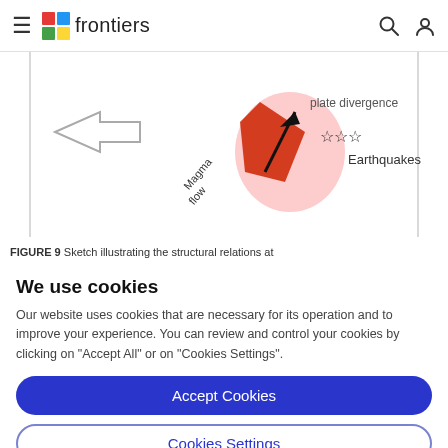frontiers
[Figure (illustration): Partial view of a geology diagram showing magma flow arrow, red volcanic feature, stars labeled Earthquakes, and text 'plate divergence' on the right side.]
FIGURE 9 Sketch illustrating the structural relations at
We use cookies
Our website uses cookies that are necessary for its operation and to improve your experience. You can review and control your cookies by clicking on "Accept All" or on "Cookies Settings".
Accept Cookies
Cookies Settings